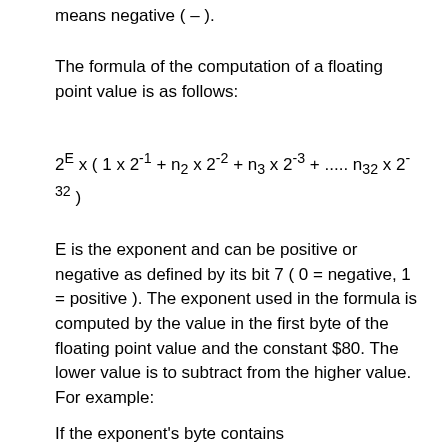means negative ( – ).
The formula of the computation of a floating point value is as follows:
E is the exponent and can be positive or negative as defined by its bit 7 ( 0 = negative, 1 = positive ). The exponent used in the formula is computed by the value in the first byte of the floating point value and the constant $80. The lower value is to subtract from the higher value. For example:
If the exponent's byte contains